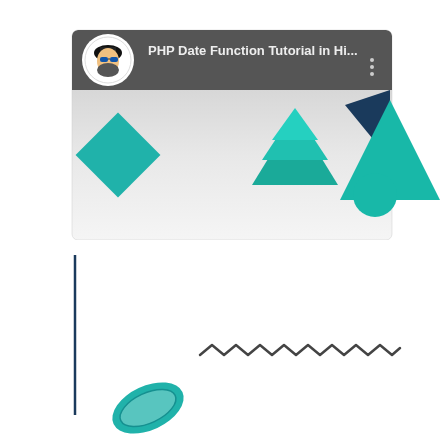[Figure (screenshot): Screenshot of a YouTube video thumbnail/player area showing 'PHP Date Function Tutorial in Hi...' from the Yahoo Baba channel. The thumbnail has a white/gray background with decorative geometric shapes: a teal rotated diamond on the left, multiple teal downward-pointing triangles in the center-top, a large teal triangle with a dark navy triangle on the right, a teal circle on the lower right. Below the thumbnail, there is a white area with a vertical dark navy line on the left, a zigzag/squiggly line in dark gray horizontally centered, a red YouTube play button logo in the center-bottom, a small teal capsule/pill shape in the lower-left corner, and a gray upward-arrow button in the lower-right corner.]